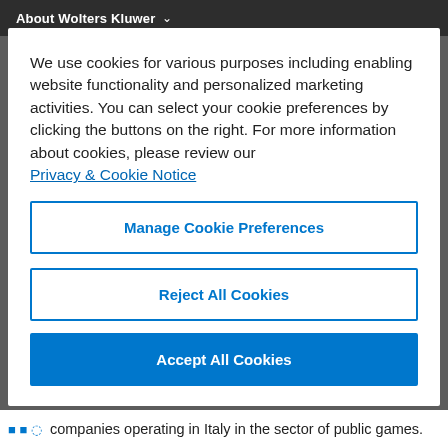About Wolters Kluwer
We use cookies for various purposes including enabling website functionality and personalized marketing activities. You can select your cookie preferences by clicking the buttons on the right. For more information about cookies, please review our Privacy & Cookie Notice
Manage Cookie Preferences
Reject All Cookies
Accept All Cookies
companies operating in Italy in the sector of public games.